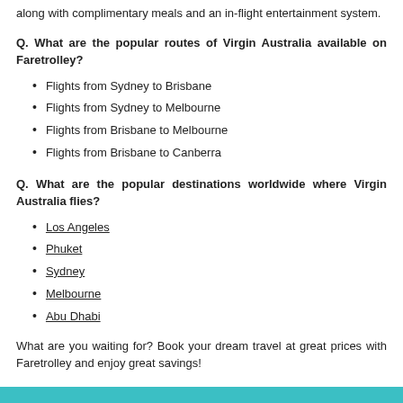along with complimentary meals and an in-flight entertainment system.
Q. What are the popular routes of Virgin Australia available on Faretrolley?
Flights from Sydney to Brisbane
Flights from Sydney to Melbourne
Flights from Brisbane to Melbourne
Flights from Brisbane to Canberra
Q. What are the popular destinations worldwide where Virgin Australia flies?
Los Angeles
Phuket
Sydney
Melbourne
Abu Dhabi
What are you waiting for? Book your dream travel at great prices with Faretrolley and enjoy great savings!